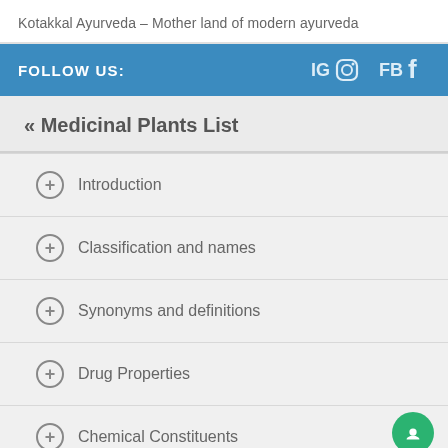Kotakkal Ayurveda – Mother land of modern ayurveda
FOLLOW US:
« Medicinal Plants List
Introduction
Classification and names
Synonyms and definitions
Drug Properties
Chemical Constituents